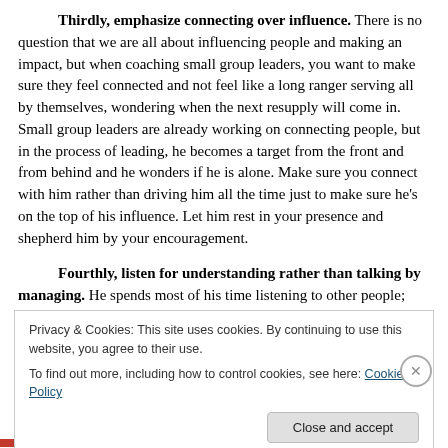Thirdly, emphasize connecting over influence. There is no question that we are all about influencing people and making an impact, but when coaching small group leaders, you want to make sure they feel connected and not feel like a long ranger serving all by themselves, wondering when the next resupply will come in. Small group leaders are already working on connecting people, but in the process of leading, he becomes a target from the front and from behind and he wonders if he is alone. Make sure you connect with him rather than driving him all the time just to make sure he's on the top of his influence. Let him rest in your presence and shepherd him by your encouragement.
Fourthly, listen for understanding rather than talking by managing. He spends most of his time listening to other people; listening to understand. He listens to understand, so that
Privacy & Cookies: This site uses cookies. By continuing to use this website, you agree to their use.
To find out more, including how to control cookies, see here: Cookie Policy